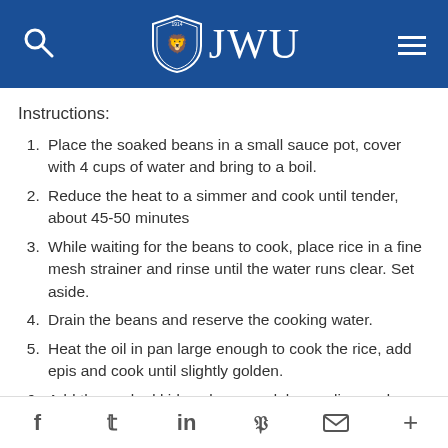JWU
Instructions:
Place the soaked beans in a small sauce pot, cover with 4 cups of water and bring to a boil.
Reduce the heat to a simmer and cook until tender, about 45-50 minutes
While waiting for the beans to cook, place rice in a fine mesh strainer and rinse until the water runs clear. Set aside.
Drain the beans and reserve the cooking water.
Heat the oil in pan large enough to cook the rice, add epis and cook until slightly golden.
Add the cooked kidney beans, adobo, garlic powder
f  t  in  P  ✉  +